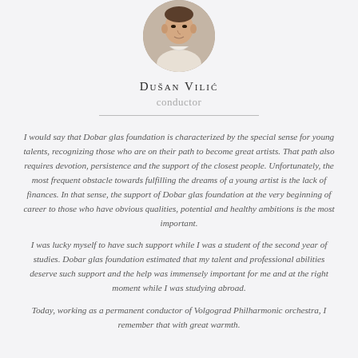[Figure (photo): Circular portrait photo of Dušan Vilić, a man in a light-colored shirt]
Dušan Vilić
conductor
I would say that Dobar glas foundation is characterized by the special sense for young talents, recognizing those who are on their path to become great artists. That path also requires devotion, persistence and the support of the closest people. Unfortunately, the most frequent obstacle towards fulfilling the dreams of a young artist is the lack of finances. In that sense, the support of Dobar glas foundation at the very beginning of career to those who have obvious qualities, potential and healthy ambitions is the most important.
I was lucky myself to have such support while I was a student of the second year of studies. Dobar glas foundation estimated that my talent and professional abilities deserve such support and the help was immensely important for me and at the right moment while I was studying abroad.
Today, working as a permanent conductor of Volgograd Philharmonic orchestra, I remember that with great warmth.